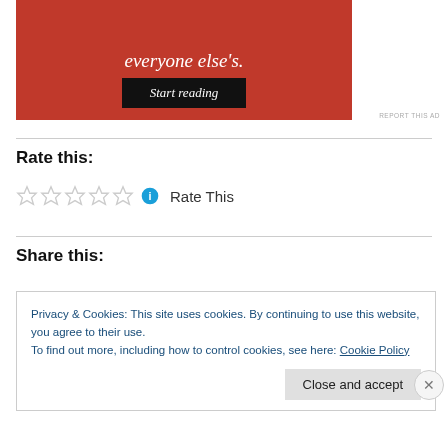[Figure (other): Red advertisement banner with italic serif text 'everyone else's.' and a dark 'Start reading' button]
REPORT THIS AD
Rate this:
[Figure (other): Five empty star rating icons followed by a blue info icon and 'Rate This' text]
Share this:
Privacy & Cookies: This site uses cookies. By continuing to use this website, you agree to their use.
To find out more, including how to control cookies, see here: Cookie Policy
Close and accept